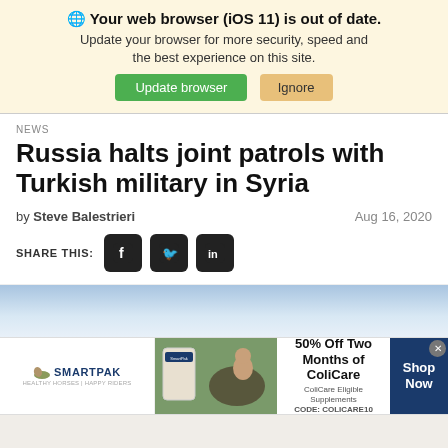🌐 Your web browser (iOS 11) is out of date. Update your browser for more security, speed and the best experience on this site. Update browser  Ignore
NEWS
Russia halts joint patrols with Turkish military in Syria
by Steve Balestrieri   Aug 16, 2020
SHARE THIS:
[Figure (screenshot): Advertisement banner for SmartPak showing 50% Off Two Months of ColiCare, ColiCare Eligible Supplements, CODE: COLICARE10, Shop Now button]